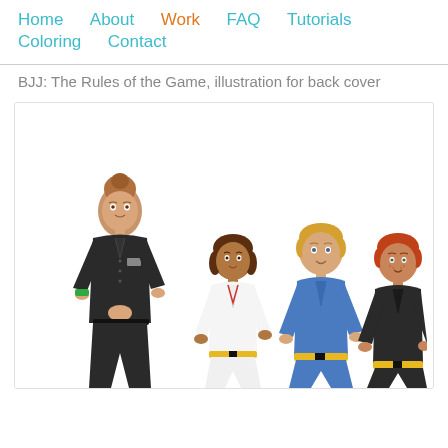Home   About   Work   FAQ   Tutorials   Coloring   Contact
BJJ: The Rules of the Game, illustration for back cover
[Figure (illustration): Four cartoon characters in martial arts/BJJ attire: a tall adult woman referee in dark uniform with green wristband, and three children — a girl in white gi with yellow belt, a boy in blue gi with yellow belt, and a boy in black gi with yellow belt.]